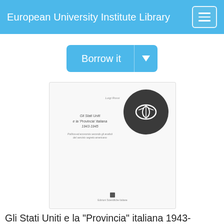European University Institute Library
[Figure (screenshot): Borrow it button with dropdown arrow, blue color]
[Figure (illustration): Book cover thumbnail showing 'Gli Stati Uniti e la Provincia italiana 1943-1945' by Luigi Rossi with a dark circular library icon overlay]
Gli Stati Uniti e la "Provincia" italiana 1943-1945 : politica ed economia secondo gli analisti del servizio segreto americano, Luigi Rossi
Creator